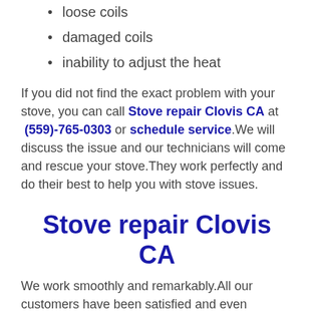loose coils
damaged coils
inability to adjust the heat
If you did not find the exact problem with your stove, you can call Stove repair Clovis CA at (559)-765-0303 or schedule service.We will discuss the issue and our technicians will come and rescue your stove.They work perfectly and do their best to help you with stove issues.
Stove repair Clovis CA
We work smoothly and remarkably.All our customers have been satisfied and even recommend their friends and relatives to call Stove repair Clovis CA when their stove breaks down. Our assurance is that we come to you will